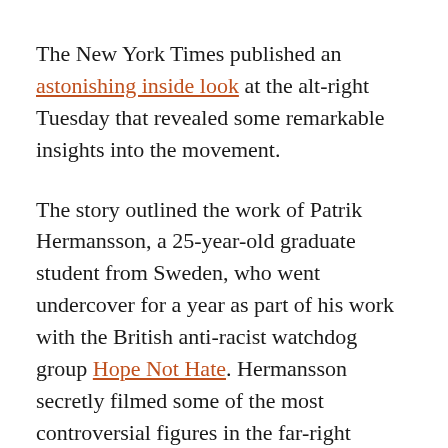The New York Times published an astonishing inside look at the alt-right Tuesday that revealed some remarkable insights into the movement.
The story outlined the work of Patrik Hermansson, a 25-year-old graduate student from Sweden, who went undercover for a year as part of his work with the British anti-racist watchdog group Hope Not Hate. Hermansson secretly filmed some of the most controversial figures in the far-right movement, and he caught them saying some pretty disturbing things.
For example, Greg Johnson, a far-right publisher,